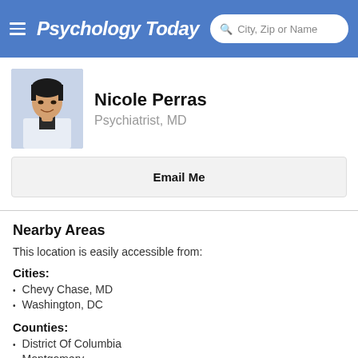Psychology Today — City, Zip or Name search
Nicole Perras
Psychiatrist, MD
Email Me
Nearby Areas
This location is easily accessible from:
Cities:
Chevy Chase, MD
Washington, DC
Counties:
District Of Columbia
Montgomery